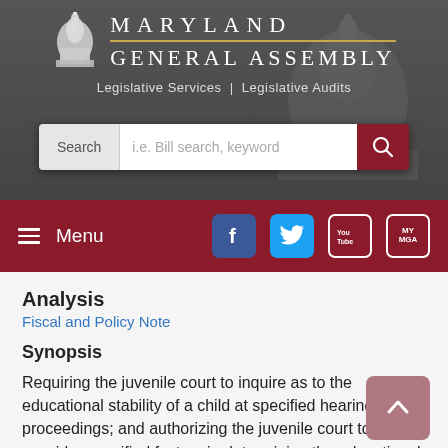MARYLAND GENERAL ASSEMBLY — Legislative Services | Legislative Audits
[Figure (screenshot): Search bar with label 'Search' and placeholder 'i.e. Bill search, keyword' and a red search button with magnifying glass icon]
[Figure (screenshot): Navigation bar with hamburger menu icon and 'Menu' text, followed by Facebook, Twitter, YouTube, and MyMGA social media icons]
Analysis
Fiscal and Policy Note
Synopsis
Requiring the juvenile court to inquire as to the educational stability of a child at specified hearings and proceedings; and authorizing the juvenile court to consider specified factors in determining the educational stability of a child.
Committees